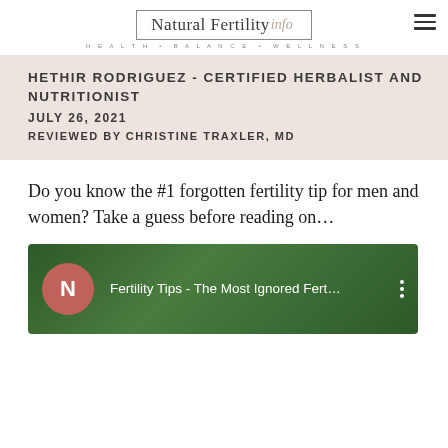[Figure (logo): Natural Fertility Info logo with tagline HEALTH • BALANCE • WELLNESS]
HETHIR RODRIGUEZ - CERTIFIED HERBALIST AND NUTRITIONIST
JULY 26, 2021
REVIEWED BY CHRISTINE TRAXLER, MD
Do you know the #1 forgotten fertility tip for men and women? Take a guess before reading on…
[Figure (screenshot): YouTube video thumbnail: Fertility Tips - The Most Ignored Fert... with green background and N logo icon]